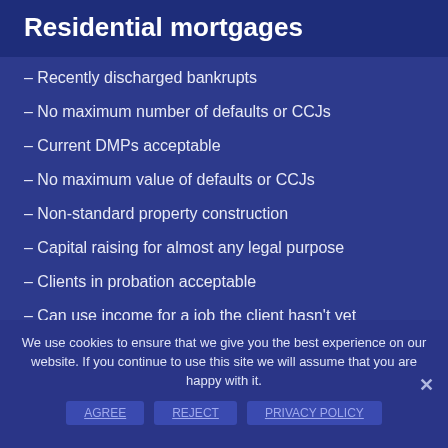Residential mortgages
– Recently discharged bankrupts
– No maximum number of defaults or CCJs
– Current DMPs acceptable
– No maximum value of defaults or CCJs
– Non-standard property construction
– Capital raising for almost any legal purpose
– Clients in probation acceptable
– Can use income for a job the client hasn't yet
We use cookies to ensure that we give you the best experience on our website. If you continue to use this site we will assume that you are happy with it.